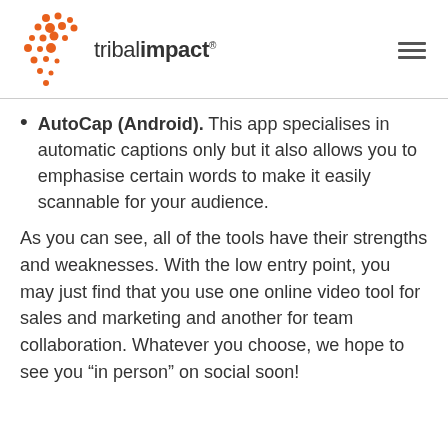[Figure (logo): Tribal Impact logo with orange dot cluster graphic and wordmark 'tribalimpact' with registered trademark symbol, plus hamburger menu icon]
AutoCap (Android). This app specialises in automatic captions only but it also allows you to emphasise certain words to make it easily scannable for your audience.
As you can see, all of the tools have their strengths and weaknesses. With the low entry point, you may just find that you use one online video tool for sales and marketing and another for team collaboration. Whatever you choose, we hope to see you “in person” on social soon!